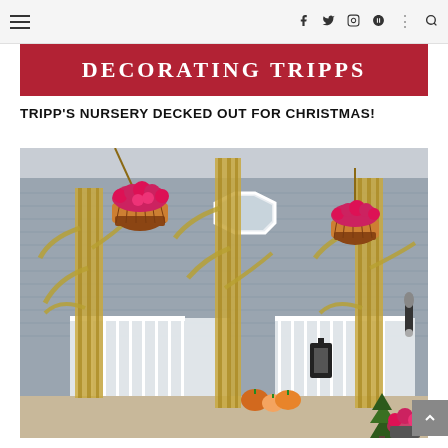≡  f  t  ⬛  p  |  🔍
[Figure (logo): Decorating Tripps logo — red banner with white serif uppercase text reading DECORATING TRIPPS]
TRIPP'S NURSERY DECKED OUT FOR CHRISTMAS!
[Figure (photo): Photograph of a front porch decorated for fall/autumn with tall dried corn stalk columns, hanging basket planters with bright pink/magenta mums in terracotta liners, pumpkins on the porch steps, a black lantern, and a small potted evergreen tree. The house exterior is grey/blue siding with white railings and an octagonal window.]